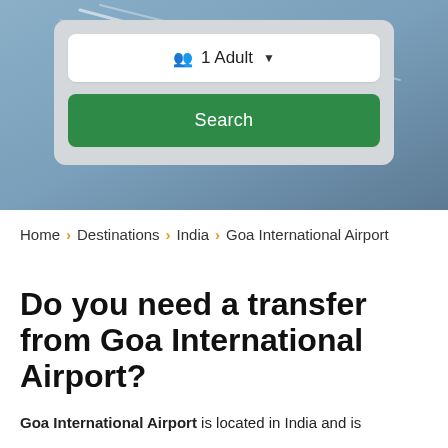[Figure (screenshot): Hero background showing sky with airplane contrails and a search widget with '1 Adult' dropdown and 'Search' button on a grey card]
Home > Destinations > India > Goa International Airport
Do you need a transfer from Goa International Airport?
Goa International Airport is located in India and is